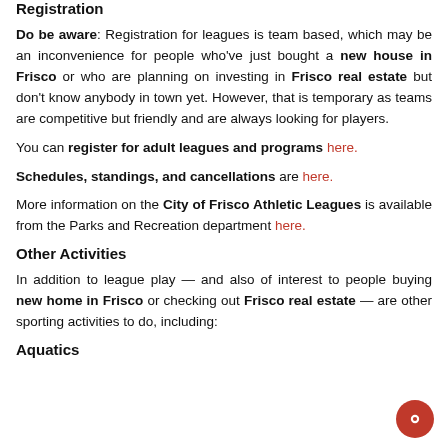Registration
Do be aware: Registration for leagues is team based, which may be an inconvenience for people who've just bought a new house in Frisco or who are planning on investing in Frisco real estate but don't know anybody in town yet. However, that is temporary as teams are competitive but friendly and are always looking for players.
You can register for adult leagues and programs here.
Schedules, standings, and cancellations are here.
More information on the City of Frisco Athletic Leagues is available from the Parks and Recreation department here.
Other Activities
In addition to league play — and also of interest to people buying new home in Frisco or checking out Frisco real estate — are other sporting activities to do, including:
Aquatics